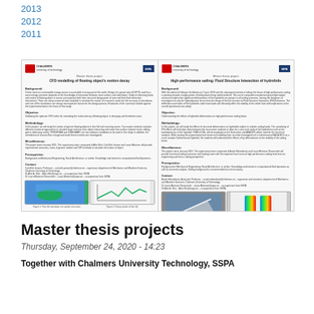2013
2012
2011
[Figure (other): Two master thesis project flyer thumbnails from Chalmers University of Technology / SSPA. Left flyer: 'CFD modelling of floating object's motion decay'. Right flyer: 'High-performance sailing: Fluid Structure Interaction of hydrofoils'. Each contains sections for Background, Objective, Methodology, Miscellaneous, Prerequisites, Contact, and small figures.]
Master thesis projects
Thursday, September 24, 2020 - 14:23
Together with Chalmers University Technology, SSPA